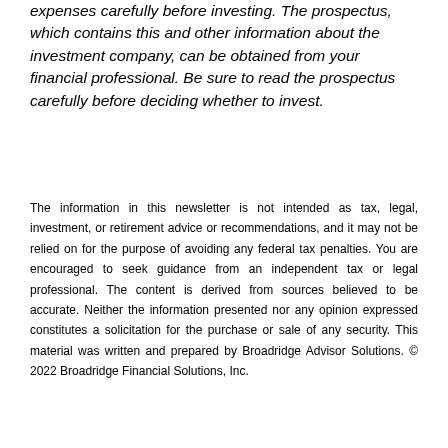expenses carefully before investing. The prospectus, which contains this and other information about the investment company, can be obtained from your financial professional. Be sure to read the prospectus carefully before deciding whether to invest.
The information in this newsletter is not intended as tax, legal, investment, or retirement advice or recommendations, and it may not be relied on for the purpose of avoiding any federal tax penalties. You are encouraged to seek guidance from an independent tax or legal professional. The content is derived from sources believed to be accurate. Neither the information presented nor any opinion expressed constitutes a solicitation for the purchase or sale of any security. This material was written and prepared by Broadridge Advisor Solutions. © 2022 Broadridge Financial Solutions, Inc.